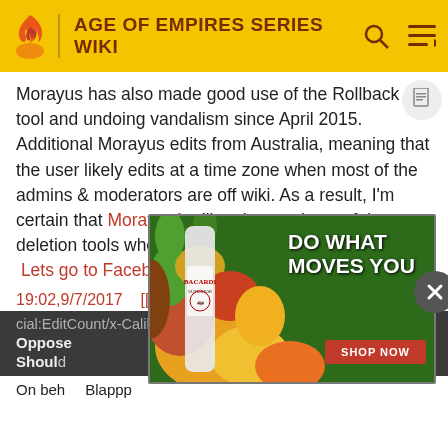AGE OF EMPIRES SERIES WIKI
Morayus has also made good use of the Rollback tool and undoing vandalism since April 2015. Additionally Morayus edits from Australia, meaning that the user likely edits at a time zone when most of the admins & moderators are off wiki. As a result, I'm certain that Morayus1 will make good use of the deletion tools when the time is right.  X-Calibur95  Lets go to Facebook!
19:02,9/7/2017   [[Special:EditCount/X-Calibur95|Special:EditCount/x-Calibur95]]
Oppose
Should
On behalf ...  Blappp
[Figure (screenshot): Bacardi advertisement overlay: Bacardi bottle with tropical fruit background, text 'DO WHAT MOVES YOU' and a red 'SHOP NOW' button]